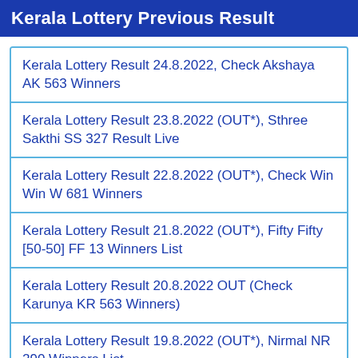Kerala Lottery Previous Result
Kerala Lottery Result 24.8.2022, Check Akshaya AK 563 Winners
Kerala Lottery Result 23.8.2022 (OUT*), Sthree Sakthi SS 327 Result Live
Kerala Lottery Result 22.8.2022 (OUT*), Check Win Win W 681 Winners
Kerala Lottery Result 21.8.2022 (OUT*), Fifty Fifty [50-50] FF 13 Winners List
Kerala Lottery Result 20.8.2022 OUT (Check Karunya KR 563 Winners)
Kerala Lottery Result 19.8.2022 (OUT*), Nirmal NR 290 Winners List